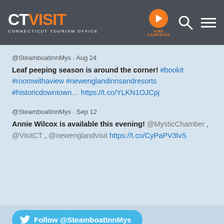CT VISIT - Connecticut Tourism Office
@SteamboatInnMys · Aug 24
Leaf peeping season is around the corner! #bookit #roomwithaview #newenglandinnsandresorts #historicdowntown… https://t.co/YLKN1OJCpj
@SteamboatInnMys · Sep 12
Annie Wilcox is available this evening! @MysticChamber , @VisitCT , @newenglandvisit https://t.co/CyPaPV3lvS
Follow @SteamboatInnMys